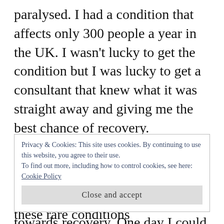paralysed. I had a condition that affects only 300 people a year in the UK. I wasn't lucky to get the condition but I was lucky to get a consultant that knew what it was straight away and giving me the best chance of recovery.
The bad news is that so little is known about the condition I don't really know if I will recover, but I can keep on hoping and working towards recovery. One day I could be
Privacy & Cookies: This site uses cookies. By continuing to use this website, you agree to their use.
To find out more, including how to control cookies, see here: Cookie Policy
Close and accept
like to take the chance whenever possible to let people know about these rare conditions